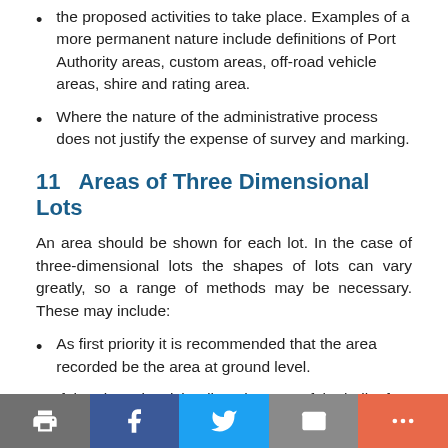the proposed activities to take place. Examples of a more permanent nature include definitions of Port Authority areas, custom areas, off-road vehicle areas, shire and rating area.
Where the nature of the administrative process does not justify the expense of survey and marking.
11   Areas of Three Dimensional Lots
An area should be shown for each lot. In the case of three-dimensional lots the shapes of lots can vary greatly, so a range of methods may be necessary. These may include:
As first priority it is recommended that the area recorded be the area at ground level.
If the above is misleading, the area of the bulk of the lot could be recorded.
Print | Facebook | Twitter | Email | More